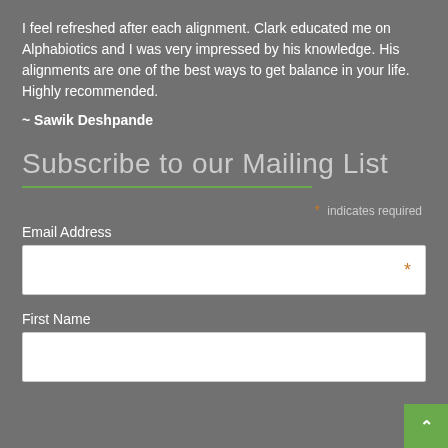I feel refreshed after each alignment. Clark educated me on Alphabiotics and I was very impressed by his knowledge. His alignments are one of the best ways to get balance in your life. Highly recommended.
~ Sawik Deshpande
Subscribe to our Mailing List
* indicates required
Email Address
First Name